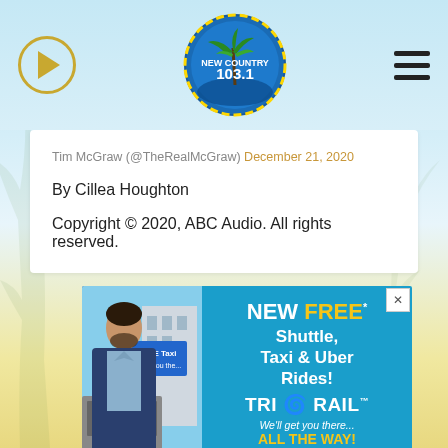[Figure (logo): New Country 103.1 radio station logo — circular logo with palm tree, play button icon on left, hamburger menu on right]
Tim McGraw (@TheRealMcGraw) December 21, 2020
By Cillea Houghton
Copyright © 2020, ABC Audio. All rights reserved.
[Figure (photo): Advertisement for Tri-Rail featuring a man in blue blazer and photo with FREE Taxi sign on left, and right side teal panel reading: NEW FREE* Shuttle, Taxi & Uber Rides! TRI-S-RAIL We'll get you there... ALL THE WAY!]